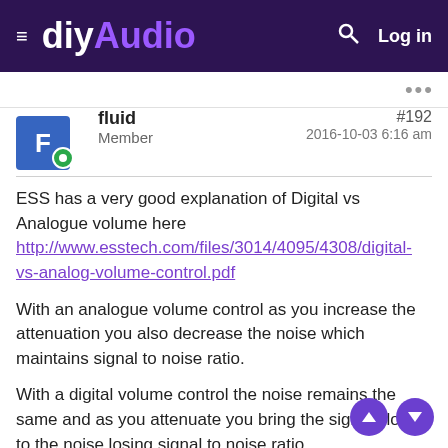diyAudio — Log in
fluid
Member
#192
2016-10-03 6:16 am
ESS has a very good explanation of Digital vs Analogue volume here
http://www.esstech.com/files/3014/4095/4308/digital-vs-analog-volume-control.pdf
With an analogue volume control as you increase the attenuation you also decrease the noise which maintains signal to noise ratio.
With a digital volume control the noise remains the same and as you attenuate you bring the signal closer to the noise losing signal to noise ratio.